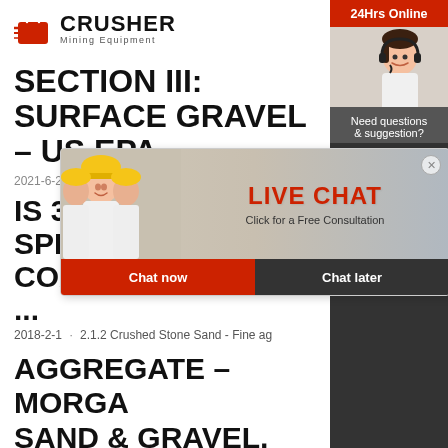[Figure (logo): Crusher Mining Equipment logo with red shopping bag icon and bold black CRUSHER text with 'Mining Equipment' subtitle]
SECTION III: SURFACE GRAVEL – US EPA
2021-6-25
IS 383 SPECIFICATION FOR COARSE AND FINE ...
2018-2-1 · 2.1.2 Crushed Stone Sand - Fine ag
AGGREGATE – MORGAN SAND & GRAVEL, LLC
[Figure (screenshot): Live chat popup overlay with workers in yellow helmets, red LIVE CHAT text, 'Click for a Free Consultation' subtitle, Chat now (red) and Chat later (dark) buttons]
[Figure (screenshot): Right sidebar with '24Hrs Online' red bar, headset customer service agent photo, 'Need questions & suggestion?', Chat Now red button, Enquiry link, and limingjlmofen@sina.com email]